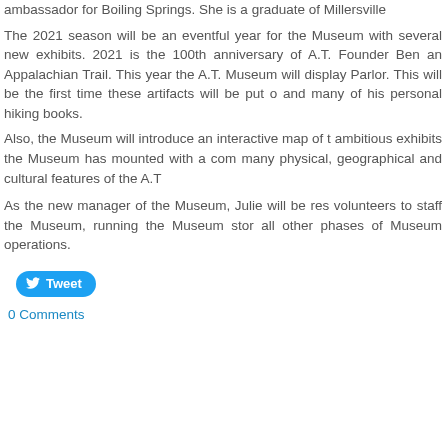ambassador for Boiling Springs. She is a graduate of Millersville University of Pennsylvania and a former teacher.
The 2021 season will be an eventful year for the Museum with several new exhibits. 2021 is the 100th anniversary of A.T. Founder Benton MacKaye's proposal for an Appalachian Trail. This year the A.T. Museum will display artifacts from MacKaye's Parlor. This will be the first time these artifacts will be put on display, including maps and many of his personal hiking books.
Also, the Museum will introduce an interactive map of the A.T. showing the ambitious exhibits the Museum has mounted with a comprehensive exhibit showing the many physical, geographical and cultural features of the A.T.
As the new manager of the Museum, Julie will be responsible for recruiting volunteers to staff the Museum, running the Museum store, grant writing and overseeing all other phases of Museum operations.
Tweet
0 Comments